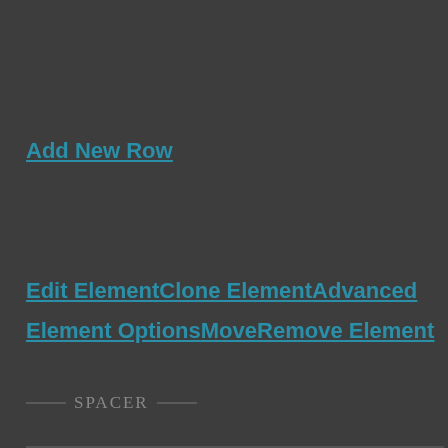Add New Row
Edit ElementClone ElementAdvanced
Element OptionsMoveRemove Element
— SPACER —